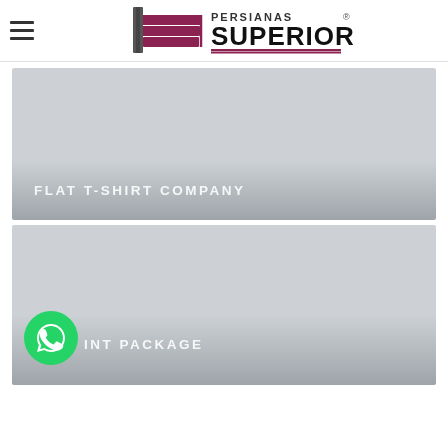[Figure (logo): Persianas Superior logo with stylized blinds icon and text]
[Figure (photo): Light gray placeholder image card with text FLAT T-SHIRT COMPANY]
[Figure (photo): Light gray placeholder image card with WhatsApp icon and text INT PACKAGE (partially visible)]